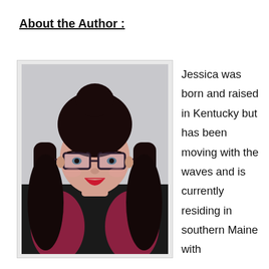About the Author :
[Figure (photo): Author photo: a young woman with dark hair in a bun, wearing glasses with pink/purple frames, red lipstick, and a dark jacket with pink/maroon accents, taking a selfie indoors.]
Jessica was born and raised in Kentucky but has been moving with the waves and is currently residing in southern Maine with